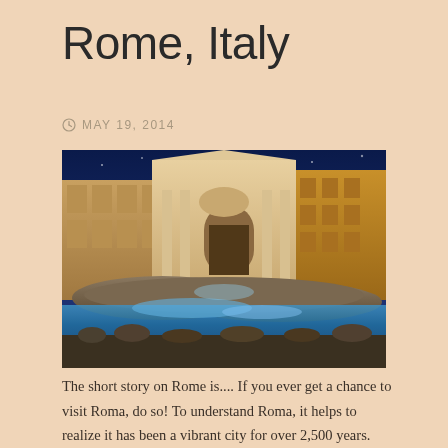Rome, Italy
MAY 19, 2014
[Figure (photo): Nighttime photograph of the Trevi Fountain in Rome, Italy. The illuminated baroque palace facade is visible against a deep blue night sky, with the fountain's water and rocks in the foreground and crowds of tourists gathered around.]
The short story on Rome is.... If you ever get a chance to visit Roma, do so!  To understand Roma, it helps to realize it has been a vibrant city for over 2,500 years.